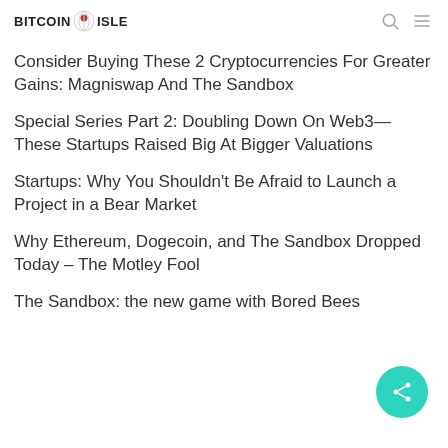BITCOIN ISLE
Consider Buying These 2 Cryptocurrencies For Greater Gains: Magniswap And The Sandbox
Special Series Part 2: Doubling Down On Web3—These Startups Raised Big At Bigger Valuations
Startups: Why You Shouldn't Be Afraid to Launch a Project in a Bear Market
Why Ethereum, Dogecoin, and The Sandbox Dropped Today – The Motley Fool
The Sandbox: the new game with Bored Bees